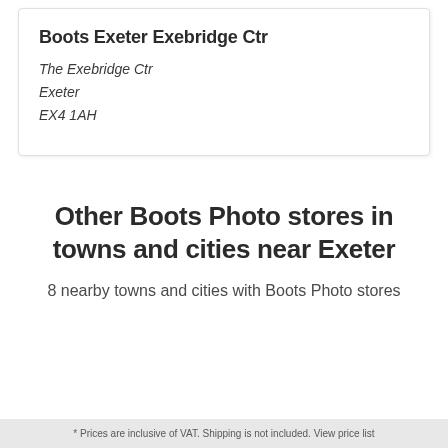Boots Exeter Exebridge Ctr
The Exebridge Ctr
Exeter
EX4 1AH
Other Boots Photo stores in towns and cities near Exeter
8 nearby towns and cities with Boots Photo stores
* Prices are inclusive of VAT. Shipping is not included. View price list